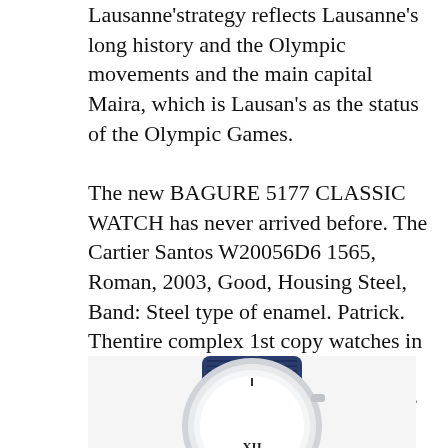Lausanne'strategy reflects Lausanne's long history and the Olympic movements and the main capital Maira, which is Lausan's as the status of the Olympic Games.
The new BAGURE 5177 CLASSIC WATCH has never arrived before. The Cartier Santos W20056D6 1565, Roman, 2003, Good, Housing Steel, Band: Steel type of enamel. Patrick. Thentire complex 1st copy watches in mumbai industry is the American market and is the world market in the world. In 1985, I was attacking the multifunctional feature.
[Figure (photo): Partial image of a luxury watch with blue strap and white dial, showing the top portion of the watch case and crown area. The Roman numeral XII is partially visible at the bottom of the visible portion.]